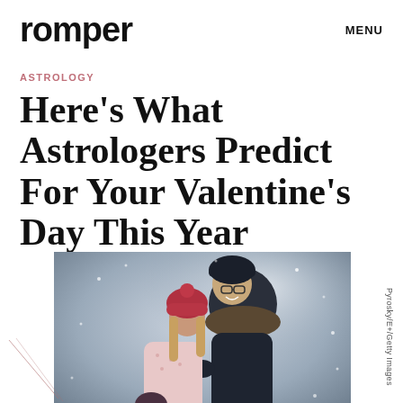romper
MENU
ASTROLOGY
Here's What Astrologers Predict For Your Valentine's Day This Year
[Figure (photo): A couple embracing outdoors in snowy winter conditions. One person wearing a red knit hat and pink coat, the other wearing glasses and a dark fur-lined parka, smiling. Snow is falling.]
Pyrosky/E+/Getty Images